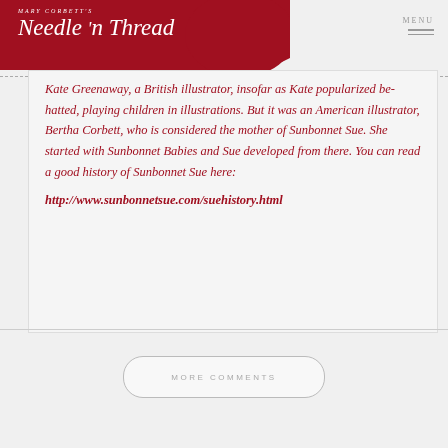Mary Corbett's Needle 'n Thread | MENU
Kate Greenaway, a British illustrator, insofar as Kate popularized be-hatted, playing children in illustrations. But it was an American illustrator, Bertha Corbett, who is considered the mother of Sunbonnet Sue. She started with Sunbonnet Babies and Sue developed from there. You can read a good history of Sunbonnet Sue here: http://www.sunbonnetsue.com/suehistory.html